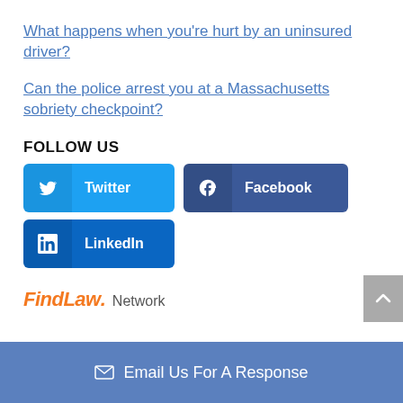What happens when you're hurt by an uninsured driver?
Can the police arrest you at a Massachusetts sobriety checkpoint?
FOLLOW US
[Figure (other): Social media buttons: Twitter, Facebook, LinkedIn]
[Figure (logo): FindLaw. Network logo]
Email Us For A Response